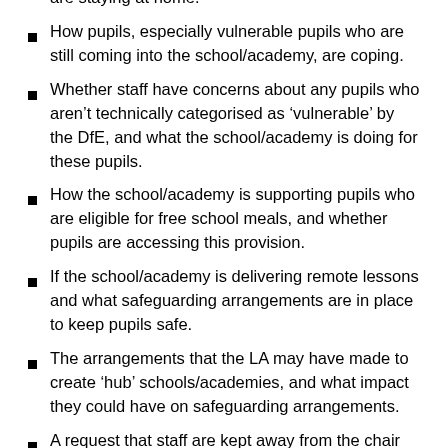are staying at home.
How pupils, especially vulnerable pupils who are still coming into the school/academy, are coping.
Whether staff have concerns about any pupils who aren’t technically categorised as ‘vulnerable’ by the DfE, and what the school/academy is doing for these pupils.
How the school/academy is supporting pupils who are eligible for free school meals, and whether pupils are accessing this provision.
If the school/academy is delivering remote lessons and what safeguarding arrangements are in place to keep pupils safe.
The arrangements that the LA may have made to create ‘hub’ schools/academies, and what impact they could have on safeguarding arrangements.
A request that staff are kept away from the chair…